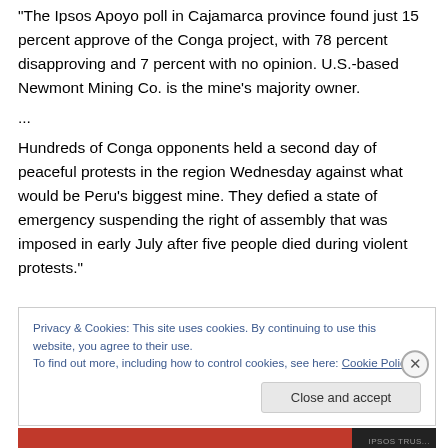"The Ipsos Apoyo poll in Cajamarca province found just 15 percent approve of the Conga project, with 78 percent disapproving and 7 percent with no opinion. U.S.-based Newmont Mining Co. is the mine's majority owner.
...
Hundreds of Conga opponents held a second day of peaceful protests in the region Wednesday against what would be Peru's biggest mine. They defied a state of emergency suspending the right of assembly that was imposed in early July after five people died during violent protests."
Privacy & Cookies: This site uses cookies. By continuing to use this website, you agree to their use.
To find out more, including how to control cookies, see here: Cookie Policy
Close and accept